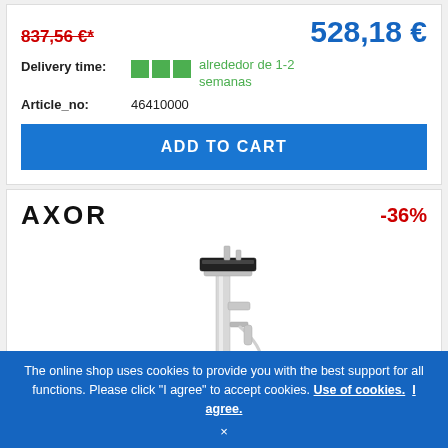837,56 €*
528,18 €
Delivery time: alrededor de 1-2 semanas
Article_no: 46410000
ADD TO CART
AXOR
-36%
[Figure (photo): Floor-standing bathtub faucet/mixer tap in chrome/black finish with handheld shower attachment and hose]
The online shop uses cookies to provide you with the best support for all functions. Please click "I agree" to accept cookies. Use of cookies. I agree.